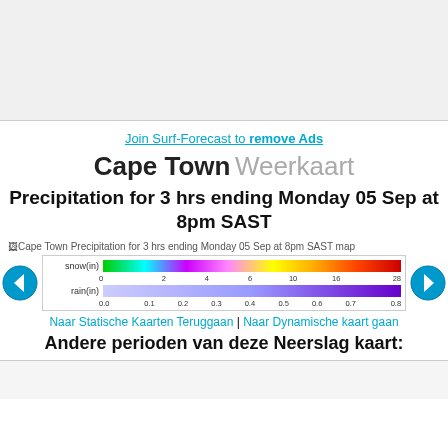[Figure (other): Advertisement banner area (gray background)]
Join Surf-Forecast to remove Ads
Cape Town Weerkaart
Precipitation for 3 hrs ending Monday 05 Sep at 8pm SAST
[Figure (map): Cape Town Precipitation for 3 hrs ending Monday 05 Sep at 8pm SAST map (broken image placeholder shown), with snow and rain color legend bar]
Naar Statische Kaarten Teruggaan | Naar Dynamische kaart gaan
Andere perioden van deze Neerslag kaart: